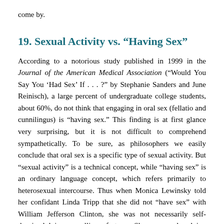come by.
19. Sexual Activity vs. “Having Sex”
According to a notorious study published in 1999 in the Journal of the American Medical Association (“Would You Say You ‘Had Sex’ If . . . ?” by Stephanie Sanders and June Reinisch), a large percent of undergraduate college students, about 60%, do not think that engaging in oral sex (fellatio and cunnilingus) is “having sex.” This finding is at first glance very surprising, but it is not difficult to comprehend sympathetically. To be sure, as philosophers we easily conclude that oral sex is a specific type of sexual activity. But “sexual activity” is a technical concept, while “having sex” is an ordinary language concept, which refers primarily to heterosexual intercourse. Thus when Monica Lewinsky told her confidant Linda Tripp that she did not “have sex” with William Jefferson Clinton, she was not necessarily self-deceived, lying, or pulling a fast one. She was merely relying on the ordinary language definition or